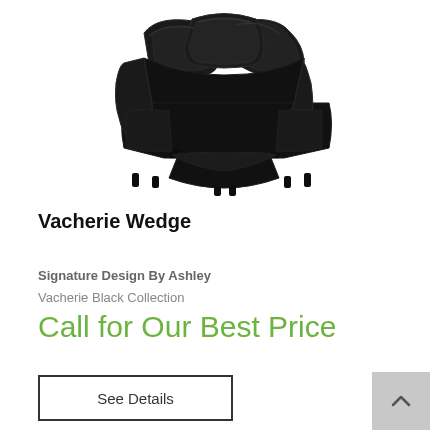[Figure (photo): Black leather sectional wedge sofa with tufted cushions, photographed from above at an angle on white background]
Vacherie Wedge
Signature Design By Ashley
Vacherie Black Collection
Call for Our Best Price
See Details